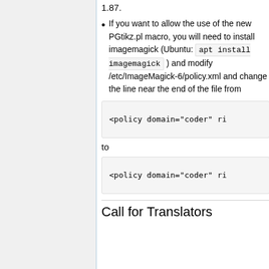1.87.
If you want to allow the use of the new PGtikz.pl macro, you will need to install imagemagick (Ubuntu: apt install imagemagick ) and modify /etc/ImageMagick-6/policy.xml and change the line near the end of the file from
<policy domain="coder" ri
to
<policy domain="coder" ri
Call for Translators